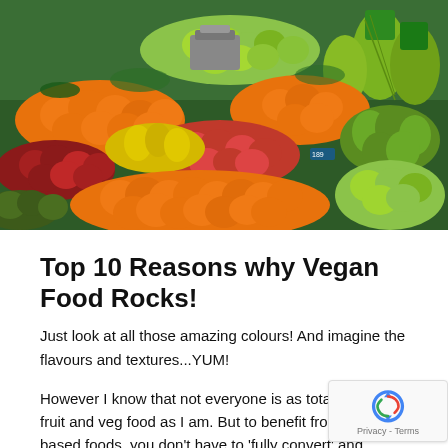[Figure (photo): A colorful market display of abundant fresh fruits including oranges, apples, pears, pineapples, red plums, and various other tropical and temperate fruits arranged in large piles.]
Top 10 Reasons why Vegan Food Rocks!
Just look at all those amazing colours! And imagine the flavours and textures...YUM!
However I know that not everyone is as totally crazy ab fruit and veg food as I am. But to benefit from eating pl based foods, you don't have to 'fully convert' and become a